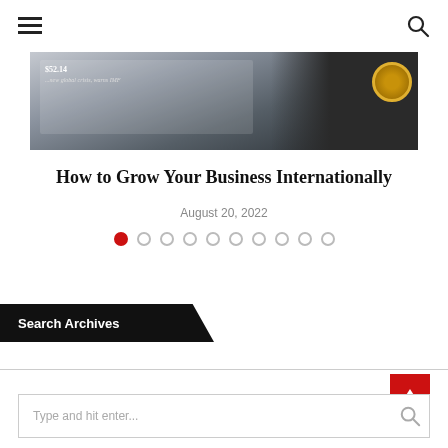≡  🔍
[Figure (photo): A newspaper or financial document showing charts ($52.14 label visible) and headline text about global crisis, with a person wearing a watch in the background]
How to Grow Your Business Internationally
August 20, 2022
[Figure (other): Carousel navigation dots: 10 dots total, first dot filled red, rest are empty circles]
Search Archives
Type and hit enter...